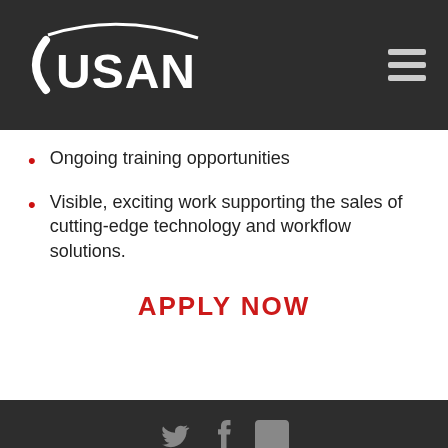USAN
Ongoing training opportunities
Visible, exciting work supporting the sales of cutting-edge technology and workflow solutions.
APPLY NOW
Blog | Contact Us | Support | Privacy | Login | Transparency in Coverage
© 2022 USAN. All Rights Reserved. Website design and development by Rearview Advertising.